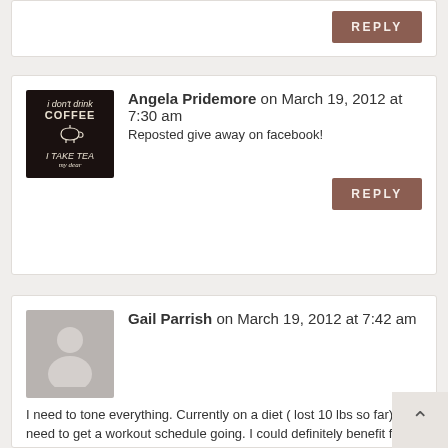REPLY
[Figure (illustration): Avatar image: black background with tea-themed text: 'i don't drink COFFEE I TAKE TEA my dear' with a teapot icon]
Angela Pridemore on March 19, 2012 at 7:30 am
Reposted give away on facebook!
REPLY
[Figure (illustration): Default grey avatar placeholder with silhouette of a person]
Gail Parrish on March 19, 2012 at 7:42 am
I need to tone everything. Currently on a diet ( lost 10 lbs so far) and need to get a workout schedule going. I could definitely benefit from this. Thanks!!!!!!
REPLY